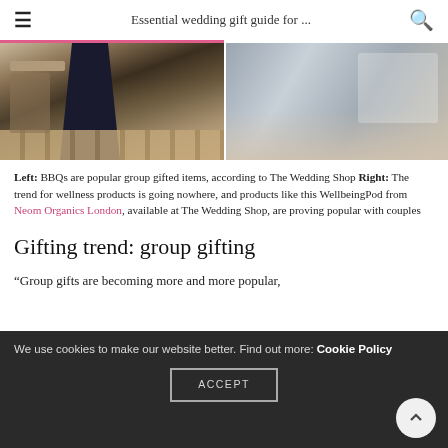Essential wedding gift guide for ...
[Figure (photo): Two-panel image: left panel shows a person in dark clothing near wooden outdoor furniture/BBQ; right panel shows bedding or wellness product packaging on a surface]
Left: BBQs are popular group gifted items, according to The Wedding Shop Right: The trend for wellness products is going nowhere, and products like this WellbeingPod from Neom Organics London, available at The Wedding Shop, are proving popular with couples
Gifting trend: group gifting
“Group gifts are becoming more and more popular,
We use cookies to make our website better. Find out more: Cookie Policy